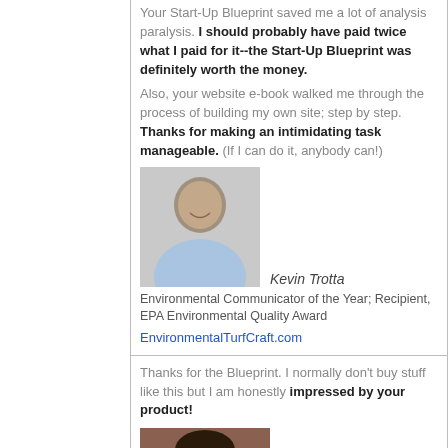Your Start-Up Blueprint saved me a lot of analysis paralysis. I should probably have paid twice what I paid for it--the Start-Up Blueprint was definitely worth the money.

Also, your website e-book walked me through the process of building my own site; step by step. Thanks for making an intimidating task manageable. (If I can do it, anybody can!)
[Figure (photo): Headshot of Kevin Trotta, older man smiling in blue shirt]
Kevin Trotta
Environmental Communicator of the Year; Recipient, EPA Environmental Quality Award
EnvironmentalTurfCraft.com
Thanks for the Blueprint. I normally don't buy stuff like this but I am honestly impressed by your product!
[Figure (photo): Headshot of Alessandra Stanton, woman with dark hair]
Alessandra Stanton
LivewireMCE.com
You answered a number of questions I had, that I didn't even know I had, so thanks for the mind read. The Blueprint is great, and I am getting a lot of helpful information from all the information. Great job on provided video and audio downloads.